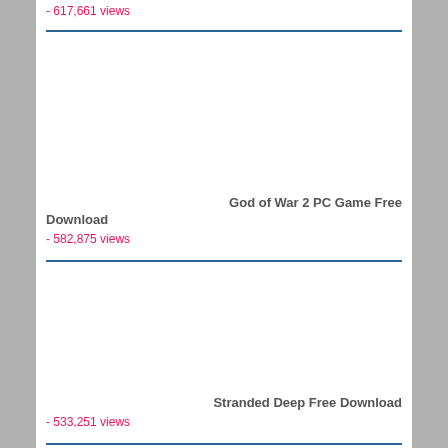- 617,661 views
God of War 2 PC Game Free Download
- 582,875 views
Stranded Deep Free Download
- 533,251 views